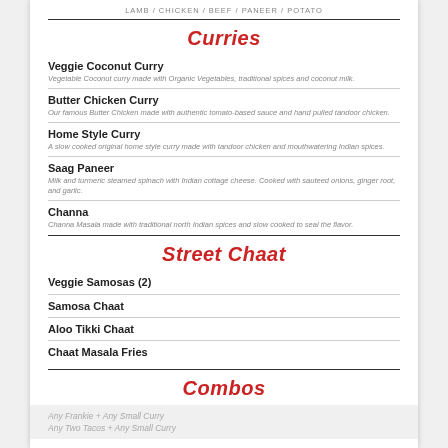LAMB / CHICKEN / BEEF / PANEER / POTATO
Curries
Veggie Coconut Curry
Butter Chicken Curry
Home Style Curry
Saag Paneer
Channa
Street Chaat
Veggie Samosas (2)
Samosa Chaat
Aloo Tikki Chaat
Chaat Masala Fries
Combos
Any Frankie + Any Small Curry
Any Two Tacos + Any Small Curry